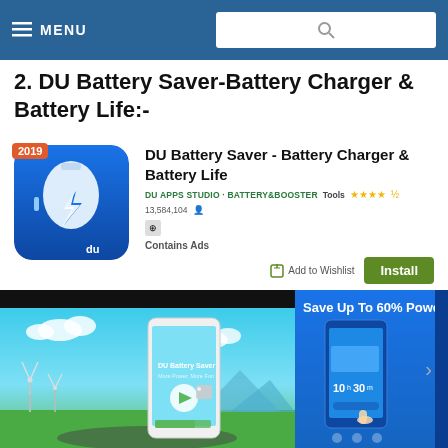MENU
2. DU Battery Saver-Battery Charger & Battery Life:-
[Figure (screenshot): App store listing for DU Battery Saver - Battery Charger & Battery Life app, showing app icon with 2019 badge, app name, developer (DU APPS STUDIO - BATTERY&BOOSTER), category (Tools), rating (4.5 stars, 13,584,104 ratings), Contains Ads label, Add to Wishlist button, and Install button]
[Figure (screenshot): Two app screenshots: left shows DU Battery Saver promotional image with windmills and a phone, right shows battery save screen with '10h 30m' display and 'Save Up To 60% Power' text]